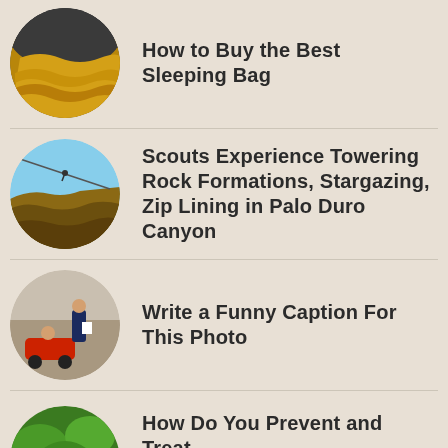How to Buy the Best Sleeping Bag
Scouts Experience Towering Rock Formations, Stargazing, Zip Lining in Palo Duro Canyon
Write a Funny Caption For This Photo
How Do You Prevent and Treat